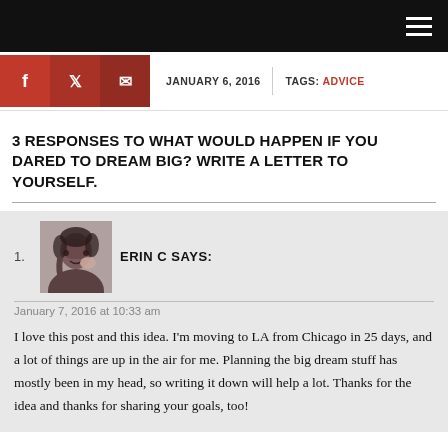JANUARY 6, 2016   TAGS: ADVICE
3 RESPONSES TO WHAT WOULD HAPPEN IF YOU DARED TO DREAM BIG? WRITE A LETTER TO YOURSELF.
1. ERIN C SAYS:
January 7, 2016 at 10:33 am
I love this post and this idea. I'm moving to LA from Chicago in 25 days, and a lot of things are up in the air for me. Planning the big dream stuff has mostly been in my head, so writing it down will help a lot. Thanks for the idea and thanks for sharing your goals, too!